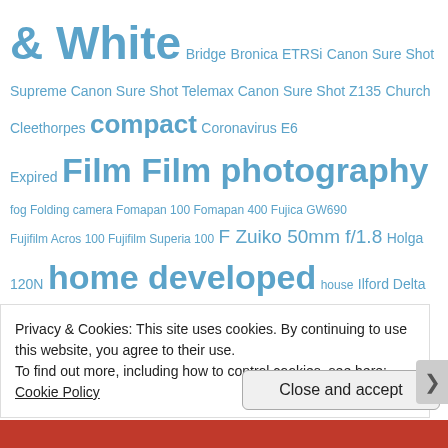& White Bridge Bronica ETRSi Canon Sure Shot Supreme Canon Sure Shot Telemax Canon Sure Shot Z135 Church Cleethorpes compact Coronavirus E6 Expired Film Film photography fog Folding camera Fomapan 100 Fomapan 400 Fujica GW690 Fujifilm Acros 100 Fujifilm Superia 100 F Zuiko 50mm f/1.8 Holga 120N home developed house Ilford Delta 400 Ilford FP4+ Ilford HP5+ Ilfotec DD-X Kodak Colorplus 200 Kodak Gold 200 Kodak Portra 400 Kodak Tmax 400 Medium...
Privacy & Cookies: This site uses cookies. By continuing to use this website, you agree to their use.
To find out more, including how to control cookies, see here: Cookie Policy
Close and accept